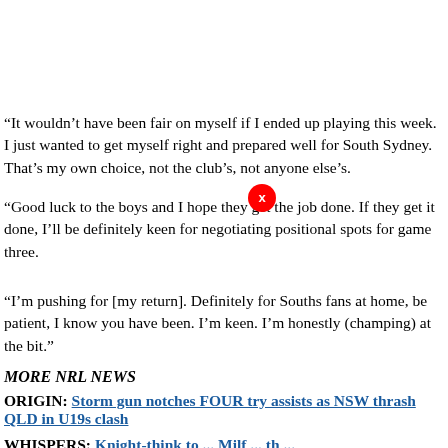“It wouldn’t have been fair on myself if I ended up playing this week. I just wanted to get myself right and prepared well for South Sydney. That’s my own choice, not the club’s, not anyone else’s.
“Good luck to the boys and I hope they get the job done. If they get it done, I’ll be definitely keen for negotiating positional spots for game three.
“I’m pushing for [my return]. Definitely for Souths fans at home, be patient, I know you have been. I’m keen. I’m honestly (champing) at the bit.”
MORE NRL NEWS
ORIGIN: Storm gun notches FOUR try assists as NSW thrash QLD in U19s clash
WHISPERS: Knight-think to ... Milf ... th ...